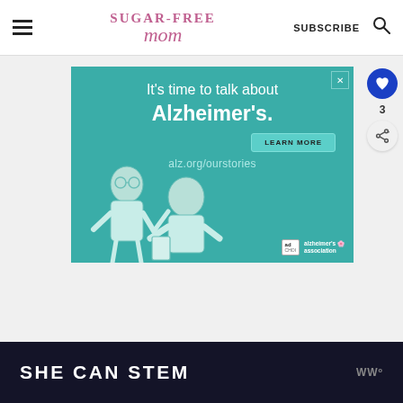Sugar-Free Mom | SUBSCRIBE
[Figure (illustration): Alzheimer's Association advertisement on teal background: 'It's time to talk about Alzheimer's.' with LEARN MORE button, alz.org/ourstories URL, illustrated elderly couple, ad tag and Alzheimer's Association logo]
3
SHE CAN STEM